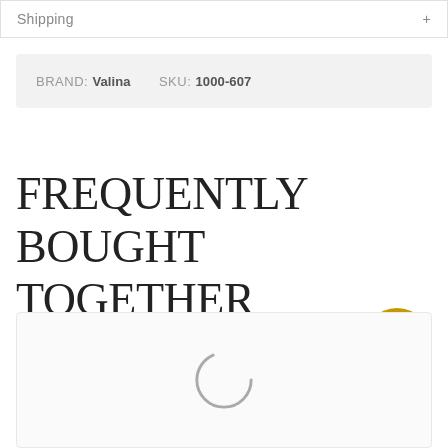Shipping +
BRAND: Valina   SKU: 1000-607
FREQUENTLY BOUGHT TOGETHER
[Figure (other): Loading spinner / circular progress indicator inside a product recommendation section]